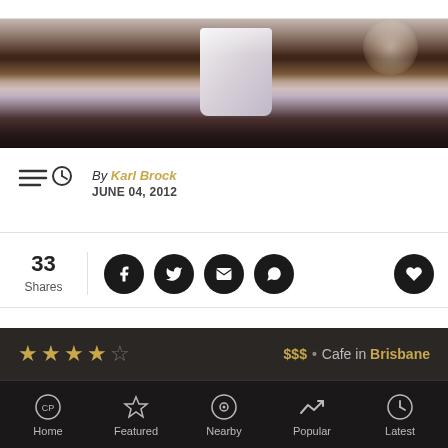[Figure (photo): Blurred photo banner of a white coffee cup on a dark surface, bokeh background]
By Karl Brock
JUNE 04, 2012
33 Shares
$$$  •  Cafe in Brisbane
Home  Featured  Nearby  Popular  Latest